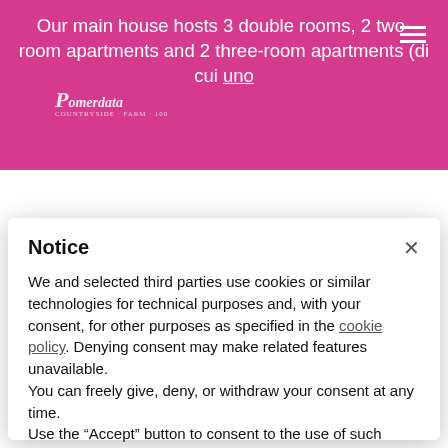[Figure (screenshot): Pink background header of a country house / farmhouse website showing text about room types]
Our main house hosts 3 double rooms, 2 two-room apartments and 2 three-room apartments (di cui uno
Notice
We and selected third parties use cookies or similar technologies for technical purposes and, with your consent, for other purposes as specified in the cookie policy. Denying consent may make related features unavailable.
You can freely give, deny, or withdraw your consent at any time.
Use the "Accept" button to consent to the use of such technologies. Use the "Reject" button or close this notice to continue without accepting.
Reject
Accept
Learn more and customise